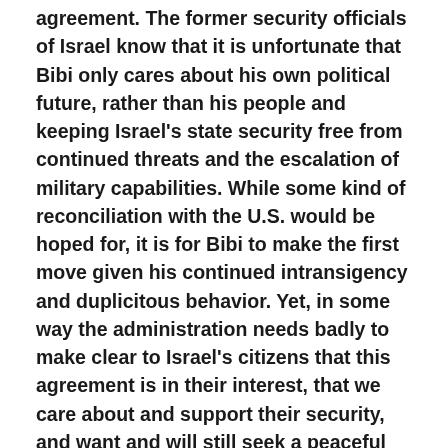agreement. The former security officials of Israel know that it is unfortunate that Bibi only cares about his own political future, rather than his people and keeping Israel's state security free from continued threats and the escalation of military capabilities. While some kind of reconciliation with the U.S. would be hoped for, it is for Bibi to make the first move given his continued intransigency and duplicitous behavior. Yet, in some way the administration needs badly to make clear to Israel's citizens that this agreement is in their interest, that we care about and support their security, and want and will still seek a peaceful region. For that, we are already rethinking our stance in the region and paths towards some kind of firm of peace settlement.
(partial text visible at bottom of page)